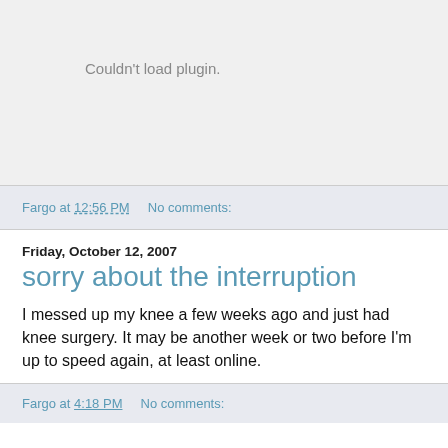[Figure (other): Plugin placeholder area with grey background showing 'Couldn't load plugin.' message]
Fargo at 12:56 PM    No comments:
Friday, October 12, 2007
sorry about the interruption
I messed up my knee a few weeks ago and just had knee surgery. It may be another week or two before I'm up to speed again, at least online.
Fargo at 4:18 PM    No comments: